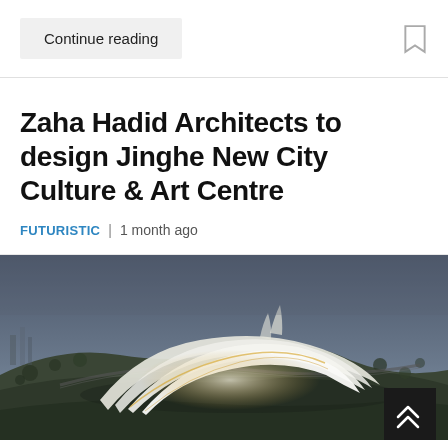Continue reading
Zaha Hadid Architects to design Jinghe New City Culture & Art Centre
FUTURISTIC | 1 month ago
[Figure (photo): Aerial architectural rendering of the Jinghe New City Culture & Art Centre showing a futuristic white curved building structure winding through a hilly landscape at dusk]